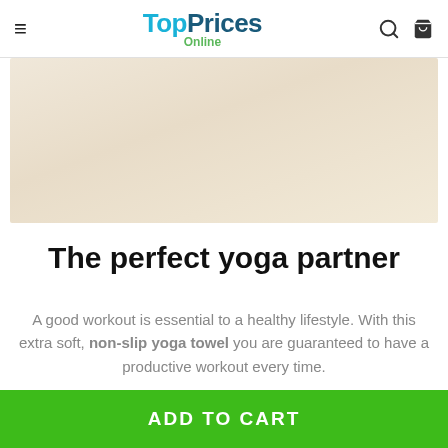TopPrices Online
[Figure (photo): Light beige/cream colored wooden surface or yoga towel product image]
The perfect yoga partner
A good workout is essential to a healthy lifestyle. With this extra soft, non-slip yoga towel you are guaranteed to have a productive workout every time.
TOP
ADD TO CART